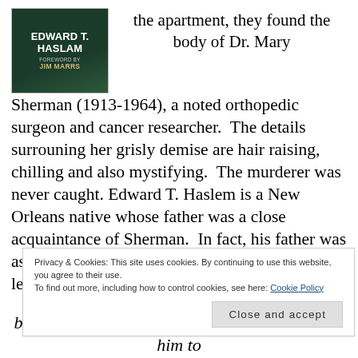[Figure (illustration): Book cover of 'Dr. Mary's Monkey' by Edward T. Haslam, foreword by Jim Marrs, dark green background]
the apartment, they found the body of Dr. Mary Sherman (1913-1964), a noted orthopedic surgeon and cancer researcher. The details surrouning her grisly demise are hair raising, chilling and also mystifying. The murderer was never caught. Edward T. Haslem is a New Orleans native whose father was a close acquaintance of Sherman. In fact, his father was asked to identify her remains and the incident left him visibily shaken as
Privacy & Cookies: This site uses cookies. By continuing to use this website, you agree to their use.
To find out more, including how to control cookies, see here: Cookie Policy
Close and accept
bodies. Someone (I don't know who) had asked him to